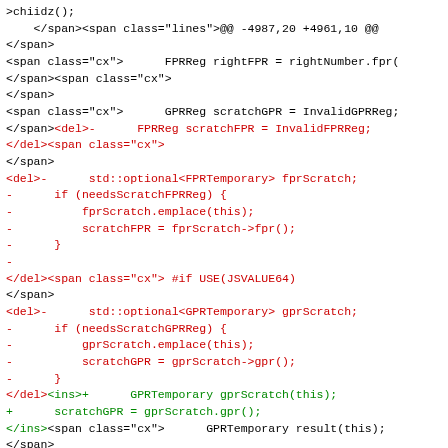Source code diff showing HTML span/del/ins markup with C++ code fragments including FPRReg, GPRReg, scratch register assignments, and conditional blocks for USE(JSVALUE64)